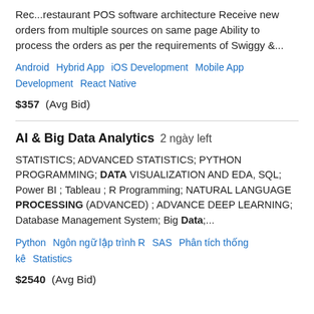Rec...restaurant POS software architecture Receive new orders from multiple sources on same page Ability to process the orders as per the requirements of Swiggy &...
Android  Hybrid App  iOS Development  Mobile App Development  React Native
$357  (Avg Bid)
AI & Big Data Analytics  2 ngày left
STATISTICS; ADVANCED STATISTICS; PYTHON PROGRAMMING; DATA VISUALIZATION AND EDA, SQL; Power BI ; Tableau ; R Programming; NATURAL LANGUAGE PROCESSING (ADVANCED) ; ADVANCE DEEP LEARNING; Database Management System; Big Data;...
Python  Ngôn ngữ lập trình R  SAS  Phân tích thống kê  Statistics
$2540  (Avg Bid)